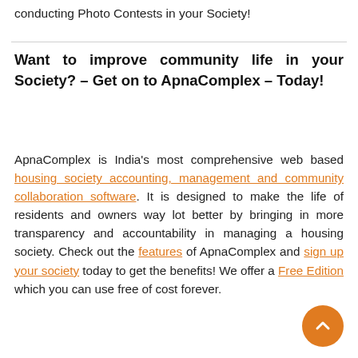conducting Photo Contests in your Society!
Want to improve community life in your Society? – Get on to ApnaComplex – Today!
ApnaComplex is India's most comprehensive web based housing society accounting, management and community collaboration software. It is designed to make the life of residents and owners way lot better by bringing in more transparency and accountability in managing a housing society. Check out the features of ApnaComplex and sign up your society today to get the benefits! We offer a Free Edition which you can use free of cost forever.